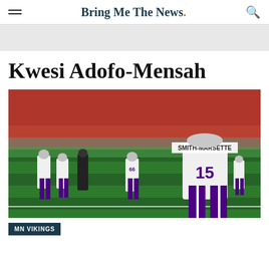Bring Me The News.
Kwesi Adofo-Mensah
[Figure (photo): Minnesota Vikings players on the sideline of a football field at a packed stadium. A player with jersey number 15 and name SMITH-MARSETTE stands in the foreground, back facing camera, wearing white jersey and purple pants.]
MN VIKINGS